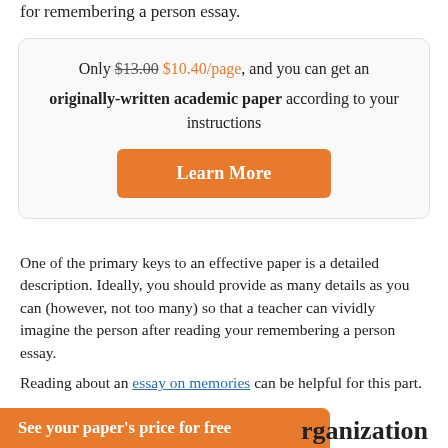for remembering a person essay.
Only $13.00 $10.40/page, and you can get an originally-written academic paper according to your instructions
Learn More
One of the primary keys to an effective paper is a detailed description. Ideally, you should provide as many details as you can (however, not too many) so that a teacher can vividly imagine the person after reading your remembering a person essay.
Reading about an essay on memories can be helpful for this part.
See your paper’s price for free
rganization